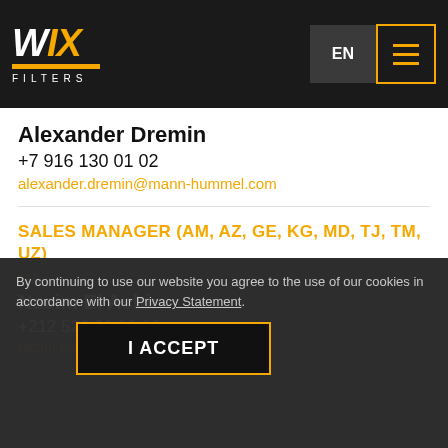WIX FILTERS — EN navigation header
Alexander Dremin
+7 916 130 01 02
alexander.dremin@mann-hummel.com
SALES MANAGER (AM, AZ, GE, KG, MD, TJ, TM, UZ)
Włodzimierz Zagórowski
+48 65 572 90 43
wlodzimierz.zagorowski@mann-hummel.com
Nacim El Achir
+212 520 01 22 80
nacim.elachir@mann-hummel.com
By continuing to use our website you agree to the use of our cookies in accordance with our Privacy Statement.
I ACCEPT